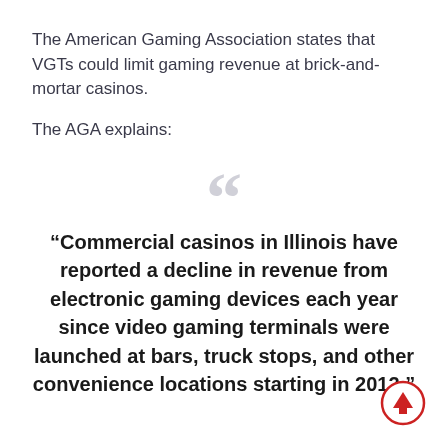The American Gaming Association states that VGTs could limit gaming revenue at brick-and-mortar casinos.
The AGA explains:
“Commercial casinos in Illinois have reported a decline in revenue from electronic gaming devices each year since video gaming terminals were launched at bars, truck stops, and other convenience locations starting in 2012.”